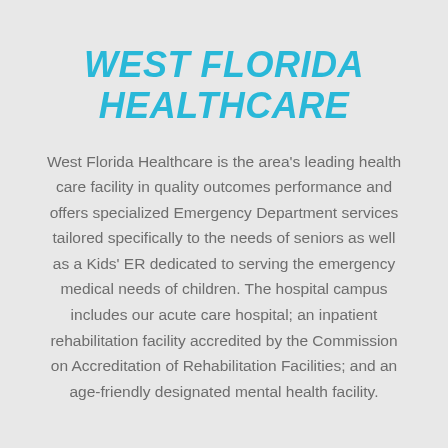WEST FLORIDA HEALTHCARE
West Florida Healthcare is the area's leading health care facility in quality outcomes performance and offers specialized Emergency Department services tailored specifically to the needs of seniors as well as a Kids' ER dedicated to serving the emergency medical needs of children. The hospital campus includes our acute care hospital; an inpatient rehabilitation facility accredited by the Commission on Accreditation of Rehabilitation Facilities; and an age-friendly designated mental health facility.